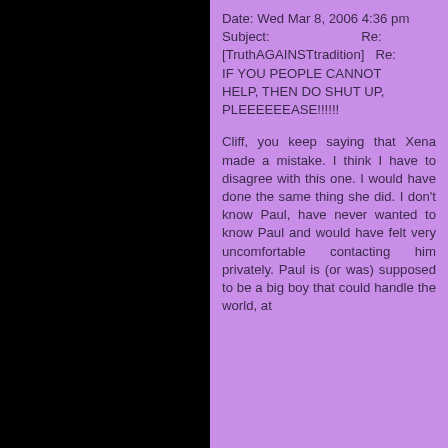Date: Wed Mar 8, 2006 4:36 pm
Subject: Re: [TruthAGAINSTtradition] Re: IF YOU PEOPLE CANNOT HELP, THEN DO SHUT UP, PLEEEEEEASE!!!!!!
Cliff, you keep saying that Xena made a mistake. I think I have to disagree with this one. I would have done the same thing she did. I don't know Paul, have never wanted to know Paul and would have felt very uncomfortable contacting him privately. Paul is (or was) supposed to be a big boy that could handle the world, at